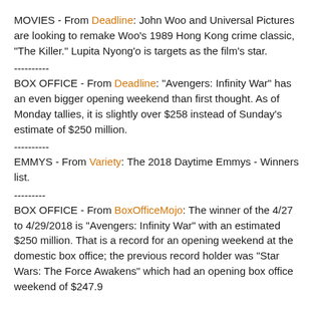MOVIES - From Deadline:  John Woo and Universal Pictures are looking to remake Woo's 1989 Hong Kong crime classic, "The Killer."  Lupita Nyong'o is targets as the film's star.
----------
BOX OFFICE - From Deadline:  "Avengers: Infinity War" has an even bigger opening weekend than first thought.  As of Monday tallies, it is slightly over $258 instead of Sunday's estimate of $250 million.
----------
EMMYS - From Variety:  The 2018 Daytime Emmys - Winners list.
---------
BOX OFFICE - From BoxOfficeMojo:  The winner of the 4/27 to 4/29/2018 is "Avengers: Infinity War" with an estimated $250 million.  That is a record for an opening weekend at the domestic box office; the previous record holder was "Star Wars: The Force Awakens" which had an opening box office weekend of $247.9